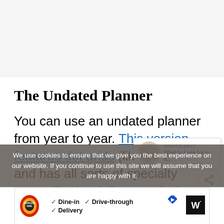[Figure (other): Light gray top area, likely image placeholder]
The Undated Planner
You can use an undated planner from year to year. This version features dot grids (like a journal) and has all sorts of specialty pages like book lists, curriculum
We use cookies to ensure that we give you the best experience on our website. If you continue to use this site we will assume that you are happy with it.
[Figure (other): What's Next promotional box with image and text: WHAT'S NEXT → What to Look for in a...]
[Figure (other): Burger King advertisement bar with Dine-in, Drive-through, Delivery options]